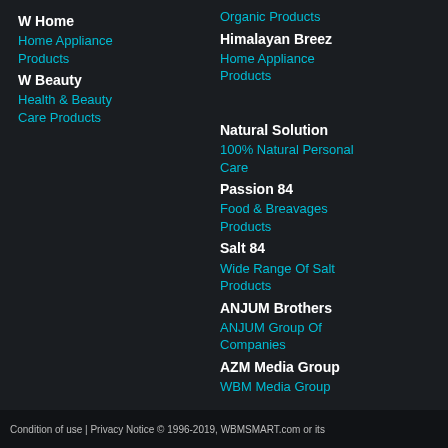W Home
Home Appliance Products
W Beauty
Health & Beauty Care Products
Organic Products
Himalayan Breez
Home Appliance Products
Natural Solution
100% Natural Personal Care
Passion 84
Food & Breavages Products
Salt 84
Wide Range Of Salt Products
ANJUM Brothers
ANJUM Group Of Companies
AZM Media Group
WBM Media Group
Condition of use | Privacy Notice © 1996-2019, WBMSMART.com or its